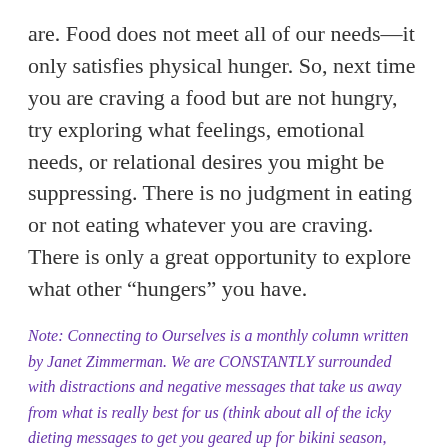are. Food does not meet all of our needs—it only satisfies physical hunger. So, next time you are craving a food but are not hungry, try exploring what feelings, emotional needs, or relational desires you might be suppressing. There is no judgment in eating or not eating whatever you are craving. There is only a great opportunity to explore what other “hungers” you have.
Note: Connecting to Ourselves is a monthly column written by Janet Zimmerman. We are CONSTANTLY surrounded with distractions and negative messages that take us away from what is really best for us (think about all of the icky dieting messages to get you geared up for bikini season, ugh!). Janet will be writing about a wide variety of topics to help you connect with the best ways to take care of YOU!  Janet is a dietetic student, positive body image advocate, and intuitive eating promoter. You can find Janet on twitter @JanetZimmerman and also at...